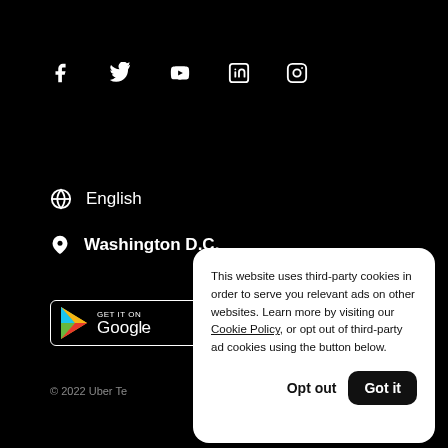[Figure (screenshot): Social media icons row: Facebook, Twitter, YouTube, LinkedIn, Instagram on black background]
English
Washington D.C.
[Figure (logo): Get it on Google Play button]
© 2022 Uber Te
This website uses third-party cookies in order to serve you relevant ads on other websites. Learn more by visiting our Cookie Policy, or opt out of third-party ad cookies using the button below.
Opt out
Got it